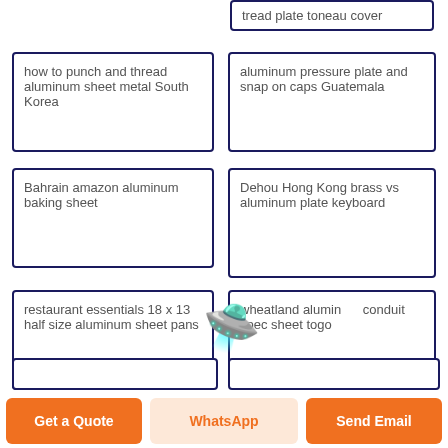tread plate toneau cover
how to punch and thread aluminum sheet metal South Korea
aluminum pressure plate and snap on caps Guatemala
Bahrain amazon aluminum baking sheet
Dehou Hong Kong brass vs aluminum plate keyboard
restaurant essentials 18 x 13 half size aluminum sheet pans
wheatland aluminum conduit spec sheet togo
Get a Quote
WhatsApp
Send Email